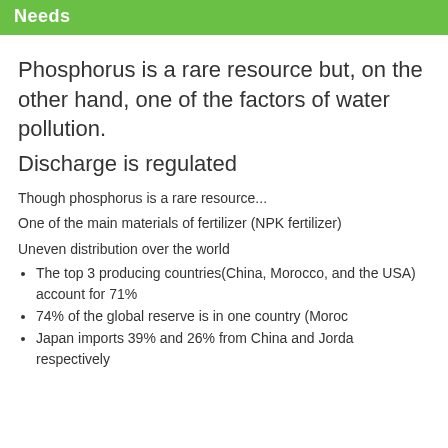Needs
Phosphorus is a rare resource but, on the other hand, one of the factors of water pollution.
Discharge is regulated
Though phosphorus is a rare resource...
One of the main materials of fertilizer (NPK fertilizer)
Uneven distribution over the world
The top 3 producing countries(China, Morocco, and the USA) account for 71%
74% of the global reserve is in one country (Moroc…
Japan imports 39% and 26% from China and Jorda… respectively